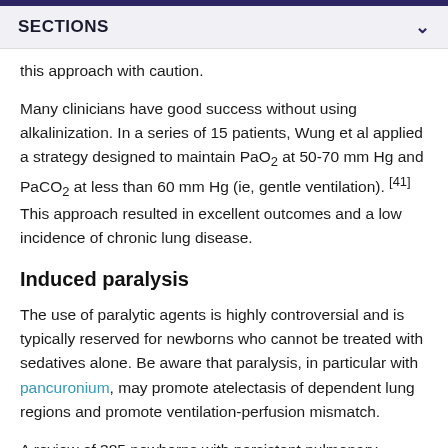SECTIONS
this approach with caution.
Many clinicians have good success without using alkalinization. In a series of 15 patients, Wung et al applied a strategy designed to maintain PaO2 at 50-70 mm Hg and PaCO2 at less than 60 mm Hg (ie, gentle ventilation). [41] This approach resulted in excellent outcomes and a low incidence of chronic lung disease.
Induced paralysis
The use of paralytic agents is highly controversial and is typically reserved for newborns who cannot be treated with sedatives alone. Be aware that paralysis, in particular with pancuronium, may promote atelectasis of dependent lung regions and promote ventilation-perfusion mismatch.
A review of 385 newborns with persistent pulmonary hypertension of the newborn by Walsh-Sukys et al...